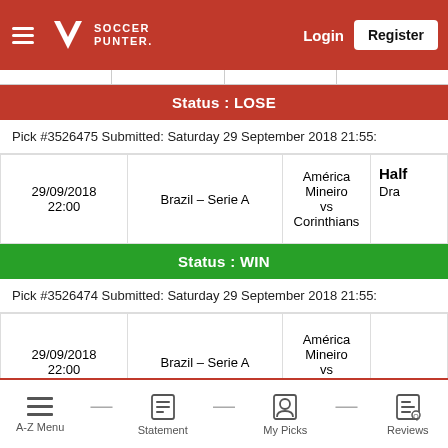Soccer Punter — Login | Register
Status : LOSE
Pick #3526475 Submitted: Saturday 29 September 2018 21:55:
| Date | League | Match | Type |
| --- | --- | --- | --- |
| 29/09/2018 22:00 | Brazil – Serie A | América Mineiro vs Corinthians | Half
Dra |
Status : WIN
Pick #3526474 Submitted: Saturday 29 September 2018 21:55:
| Date | League | Match | Type |
| --- | --- | --- | --- |
| 29/09/2018 22:00 | Brazil – Serie A | América Mineiro vs Corinthians |  |
A-Z Menu  Statement  My Picks  Reviews